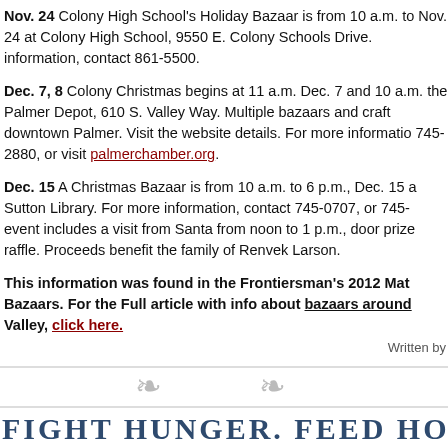Nov. 24 Colony High School's Holiday Bazaar is from 10 a.m. to Nov. 24 at Colony High School, 9550 E. Colony Schools Drive. information, contact 861-5500.
Dec. 7, 8 Colony Christmas begins at 11 a.m. Dec. 7 and 10 a.m. the Palmer Depot, 610 S. Valley Way. Multiple bazaars and crafts downtown Palmer. Visit the website details. For more information, 745-2880, or visit palmerchamber.org.
Dec. 15 A Christmas Bazaar is from 10 a.m. to 6 p.m., Dec. 15 at Sutton Library. For more information, contact 745-0707, or 745- event includes a visit from Santa from noon to 1 p.m., door prizes raffle. Proceeds benefit the family of Renvek Larson.
This information was found in the Frontiersman's 2012 Mat Bazaars. For the Full article with info about bazaars around Valley, click here.
Written by
[Figure (illustration): Decorative divider with two leaf/floral ornaments and horizontal lines]
FIGHT HUNGER. FEED HOPE. STARTS T